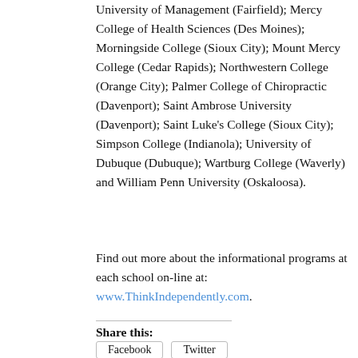University of Management (Fairfield); Mercy College of Health Sciences (Des Moines); Morningside College (Sioux City); Mount Mercy College (Cedar Rapids); Northwestern College (Orange City); Palmer College of Chiropractic (Davenport); Saint Ambrose University (Davenport); Saint Luke's College (Sioux City); Simpson College (Indianola); University of Dubuque (Dubuque); Wartburg College (Waverly) and William Penn University (Oskaloosa).
Find out more about the informational programs at each school on-line at: www.ThinkIndependently.com.
Share this:
Facebook Twitter